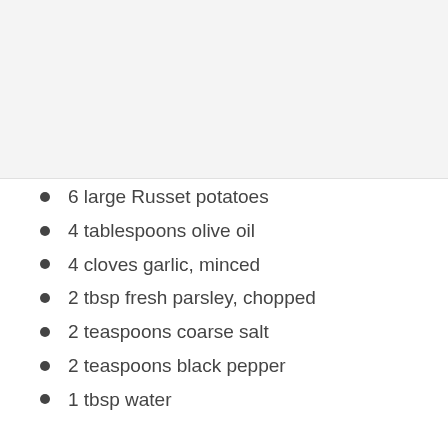[Figure (photo): Placeholder image area at top of page, light gray background]
6 large Russet potatoes
4 tablespoons olive oil
4 cloves garlic, minced
2 tbsp fresh parsley, chopped
2 teaspoons coarse salt
2 teaspoons black pepper
1 tbsp water